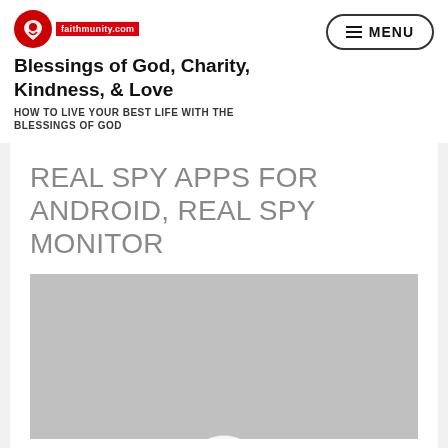[Figure (logo): Faithmunity.com logo: red heart with white figure, beside red badge with white text 'faithmunity.com']
Blessings of God, Charity, Kindness, & Love
HOW TO LIVE YOUR BEST LIFE WITH THE BLESSINGS OF GOD
REAL SPY APPS FOR ANDROID, REAL SPY MONITOR
[Figure (screenshot): Gray video placeholder thumbnail with a partial circular play button visible at the bottom center]